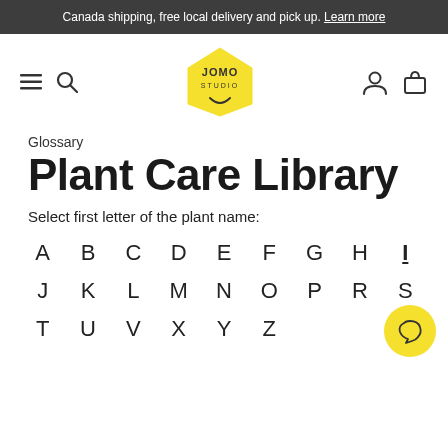Canada shipping, free local delivery and pick up. Learn more
[Figure (logo): JOMO Studio logo - yellow pentagon house shape with 'JOMO STUDIO' text and smiley face]
Glossary
Plant Care Library
Select first letter of the plant name:
A B C D E F G H I J K L M N O P R S T U V X Y Z